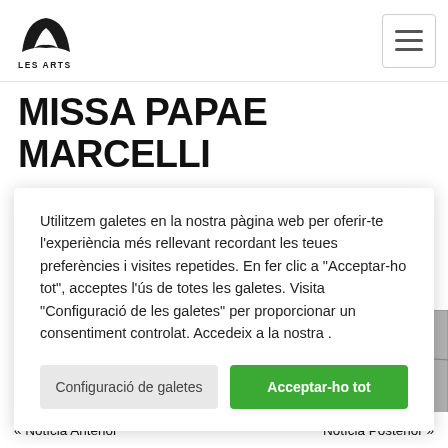LES ARTS VALÈNCIA
MISSA PAPAE MARCELLI
Utilitzem galetes en la nostra pàgina web per oferir-te l'experiència més rellevant recordant les teues preferències i visites repetides. En fer clic a "Acceptar-ho tot", acceptes l'ús de totes les galetes. Visita "Configuració de les galetes" per proporcionar un consentiment controlat. Accedeix a la nostra .
[Figure (photo): Dark figure/performer in black against a stone-textured background]
« Notícia Anterior    Notícia Posterior »